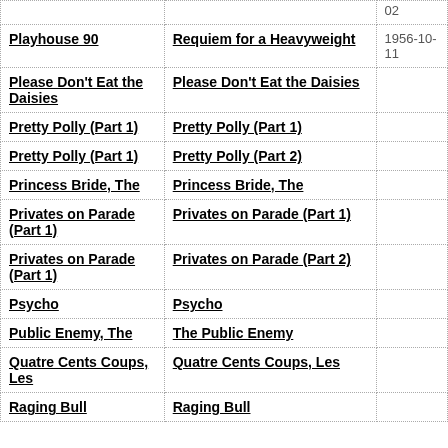|  |  |  |
| --- | --- | --- |
|  |  | 02 |
| Playhouse 90 | Requiem for a Heavyweight | 1956-10-11 |
| Please Don't Eat the Daisies | Please Don't Eat the Daisies |  |
| Pretty Polly (Part 1) | Pretty Polly (Part 1) |  |
| Pretty Polly (Part 1) | Pretty Polly (Part 2) |  |
| Princess Bride, The | Princess Bride, The |  |
| Privates on Parade (Part 1) | Privates on Parade (Part 1) |  |
| Privates on Parade (Part 1) | Privates on Parade (Part 2) |  |
| Psycho | Psycho |  |
| Public Enemy, The | The Public Enemy |  |
| Quatre Cents Coups, Les | Quatre Cents Coups, Les |  |
| Raging Bull | Raging Bull |  |